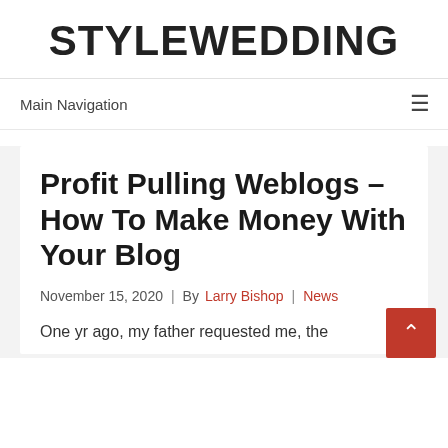STYLEWEDDING
Main Navigation
Profit Pulling Weblogs – How To Make Money With Your Blog
November 15, 2020 | By Larry Bishop | News
One yr ago, my father requested me, the